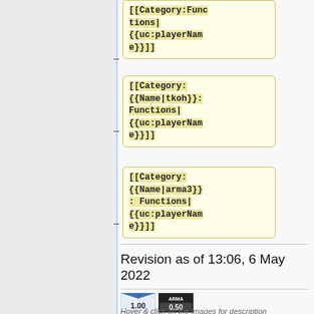[[Category:Functions|{{uc:playerName}}]]
[[Category:{{Name|tkoh}}:Functions|{{uc:playerName}}]]
[[Category:{{Name|arma3}}: Functions|{{uc:playerName}}]]
Revision as of 13:06, 6 May 2022
[Figure (other): Two version badge icons: '1.00' and '0.50 ARMA']
Hover & click on the images for description